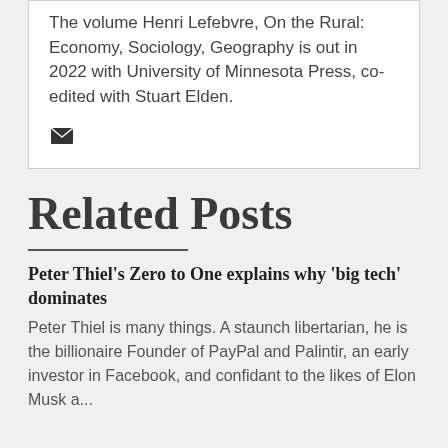The volume Henri Lefebvre, On the Rural: Economy, Sociology, Geography is out in 2022 with University of Minnesota Press, co-edited with Stuart Elden.
[Figure (illustration): Email envelope icon]
Related Posts
Peter Thiel's Zero to One explains why 'big tech' dominates
Peter Thiel is many things. A staunch libertarian, he is the billionaire Founder of PayPal and Palintir, an early investor in Facebook, and confidant to the likes of Elon Musk a...